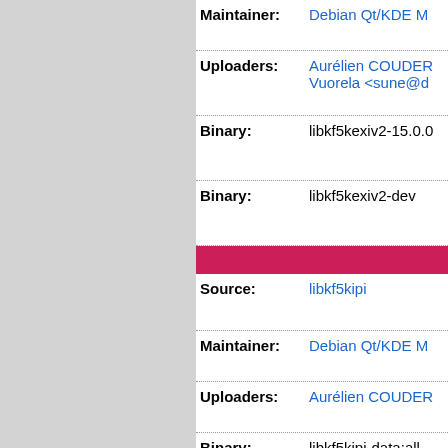| Field | Value |
| --- | --- |
| Maintainer: | Debian Qt/KDE M… |
| Uploaders: | Aurélien COUDER… Vuorela <sune@d… |
| Binary: | libkf5kexiv2-15.0.0… |
| Binary: | libkf5kexiv2-dev |
| Field | Value |
| --- | --- |
| Source: | libkf5kipi |
| Maintainer: | Debian Qt/KDE M… |
| Uploaders: | Aurélien COUDER… |
| Binary: | libkf5kipi-data:all |
| Binary: | libkf5kipi-dev |
| Binary: | libkf5kipi32.0.0 |
Source: libkf5kmahjongg…